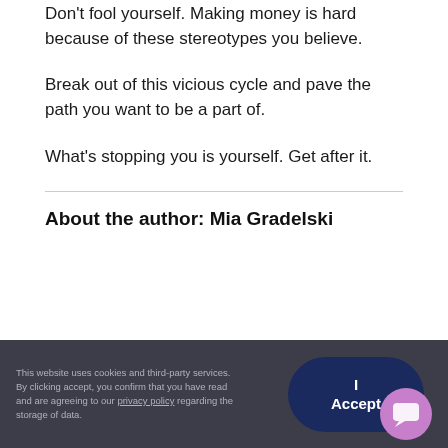Don't fool yourself. Making money is hard because of these stereotypes you believe.
Break out of this vicious cycle and pave the path you want to be a part of.
What's stopping you is yourself. Get after it.
About the author: Mia Gradelski
This website uses cookies and third-party services. By clicking accept, you confirm that you have read and are agreeing to our privacy policy regarding the storage of data.